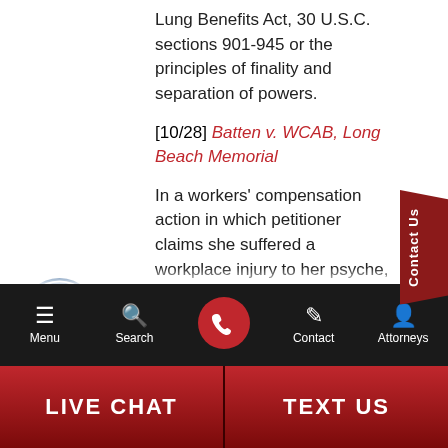Lung Benefits Act, 30 U.S.C. sections 901-945 or the principles of finality and separation of powers.
[10/28] Batten v. WCAB, Long Beach Memorial
In a workers' compensation action in which petitioner claims she suffered a workplace injury to her psyche, the Workers Compensation Appeals Board refusal to admit her privately retained expert's report is affirmed where the admission of medical evaluation petitioner obtained is barred by
[Figure (other): Accessibility icon - circular blue button with wheelchair user symbol]
[Figure (other): Contact Us vertical sidebar tab in dark red]
Menu | Search | [Call button] | Contact | Attorneys
LIVE CHAT | TEXT US